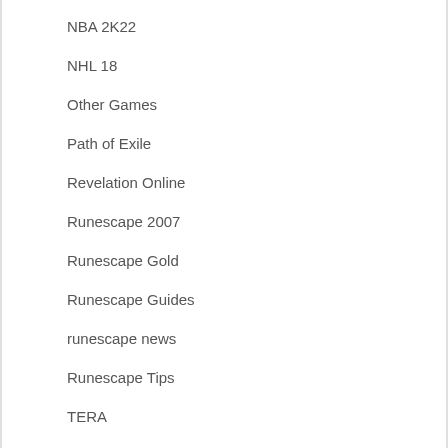NBA 2K22
NHL 18
Other Games
Path of Exile
Revelation Online
Runescape 2007
Runescape Gold
Runescape Guides
runescape news
Runescape Tips
TERA
Wildstar